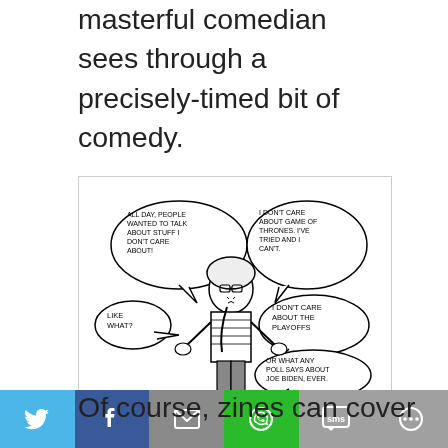masterful comedian sees through a precisely-timed bit of comedy.
[Figure (illustration): Comic panel showing a person with glasses and braided hair surrounded by speech bubbles saying: 'ALL DAY, PEOPLE WANTED TO TALK ABOUT STUFF I DON'T CARE ABOUT!', 'LIKE WHAT?', 'I DON'T CARE ABOUT GAME OF THRONES. I'VE TRIED AND I CAN'T.', 'I DON'T CARE ABOUT THE PLAYOFFS', 'OR WHAT ANY POLL SAYS ABOUT JOE BIDEN, EVER.']
Panel excerpt from YEAR OF ZINES!
Of course, zines can cover